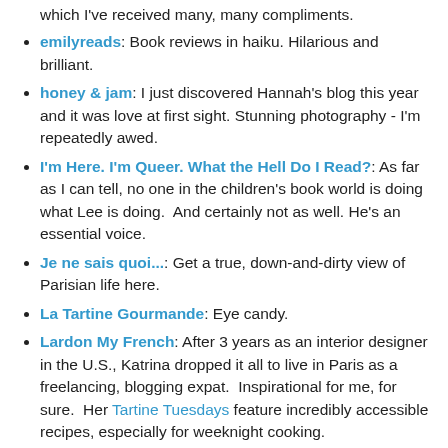which I've received many, many compliments.
emilyreads: Book reviews in haiku. Hilarious and brilliant.
honey & jam: I just discovered Hannah's blog this year and it was love at first sight. Stunning photography - I'm repeatedly awed.
I'm Here. I'm Queer. What the Hell Do I Read?: As far as I can tell, no one in the children's book world is doing what Lee is doing.  And certainly not as well. He's an essential voice.
Je ne sais quoi...: Get a true, down-and-dirty view of Parisian life here.
La Tartine Gourmande: Eye candy.
Lardon My French: After 3 years as an interior designer in the U.S., Katrina dropped it all to live in Paris as a freelancing, blogging expat. Inspirational for me, for sure. Her Tartine Tuesdays feature incredibly accessible recipes, especially for weeknight cooking.